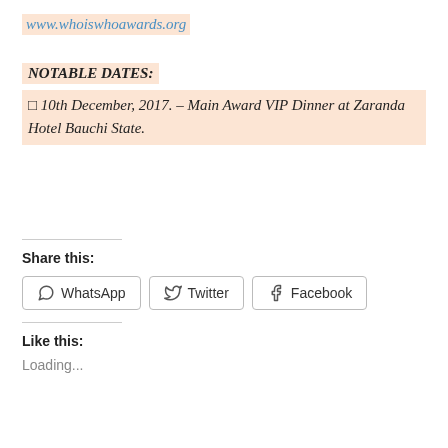www.whoiswhoawards.org
NOTABLE DATES:
◻ 10th December, 2017. – Main Award VIP Dinner at Zaranda Hotel Bauchi State.
Share this:
WhatsApp  Twitter  Facebook
Like this:
Loading...